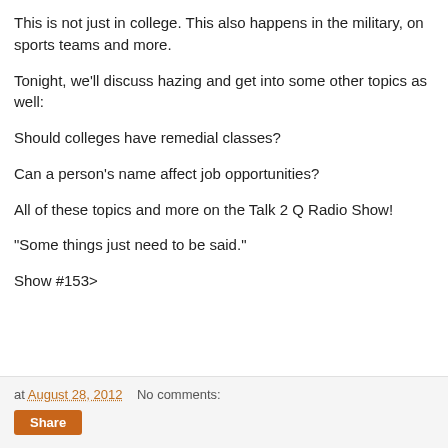This is not just in college. This also happens in the military, on sports teams and more.
Tonight, we'll discuss hazing and get into some other topics as well:
Should colleges have remedial classes?
Can a person's name affect job opportunities?
All of these topics and more on the Talk 2 Q Radio Show!
"Some things just need to be said."
Show #153>
at August 28, 2012   No comments:   Share